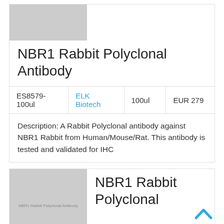[Figure (photo): Gray placeholder image for product thumbnail]
NBR1 Rabbit Polyclonal Antibody
| ES8579-100ul | ELK Biotech | 100ul | EUR 279 |
| --- | --- | --- | --- |
Description: A Rabbit Polyclonal antibody against NBR1 Rabbit from Human/Mouse/Rat. This antibody is tested and validated for IHC
[Figure (photo): Gray placeholder image with text: NBR1 Rabbit Polyclonal Antibody]
NBR1 Rabbit Polyclonal